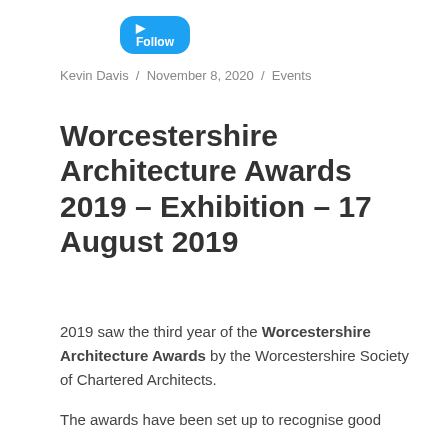[Figure (logo): Twitter/Follow button (blue rounded rectangle with white text)]
Kevin Davis / November 8, 2020 / Events
Worcestershire Architecture Awards 2019 – Exhibition – 17 August 2019
2019 saw the third year of the Worcestershire Architecture Awards by the Worcestershire Society of Chartered Architects.
The awards have been set up to recognise good